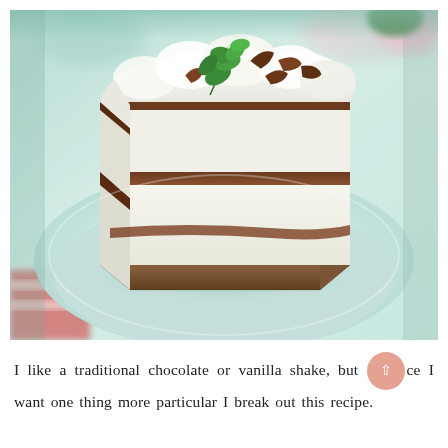[Figure (photo): A slice of layered dessert bar with graham cracker crust, cream cheese filling, chocolate caramel layer, whipped cream topping, chocolate shavings, and fresh mint leaves, served on a light blue/green plate.]
I like a traditional chocolate or vanilla shake, but once I want one thing more particular I break out this recipe.